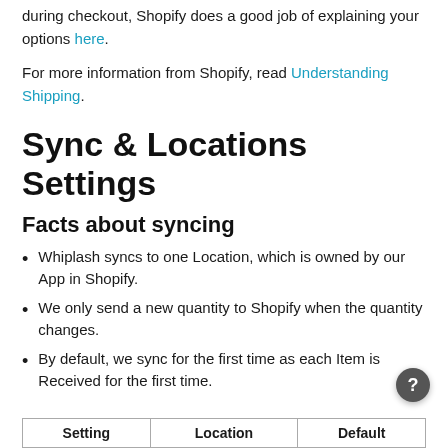during checkout, Shopify does a good job of explaining your options here.
For more information from Shopify, read Understanding Shipping.
Sync & Locations Settings
Facts about syncing
Whiplash syncs to one Location, which is owned by our App in Shopify.
We only send a new quantity to Shopify when the quantity changes.
By default, we sync for the first time as each Item is Received for the first time.
| Setting | Location | Default |
| --- | --- | --- |